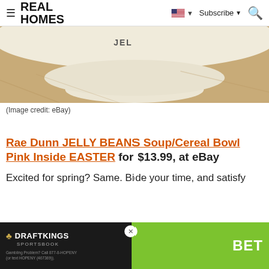REAL HOMES — Subscribe
[Figure (photo): Bottom portion of a cream/beige ceramic bowl sitting on a wooden surface, showing the base and lower body of the bowl with text partially visible near the top.]
(Image credit: eBay)
Rae Dunn JELLY BEANS Soup/Cereal Bowl Pink Inside EASTER for $13.99, at eBay
Excited for spring? Same. Bide your time, and satisfy
[Figure (screenshot): DraftKings Sportsbook advertisement banner with dark left side showing DraftKings logo and green right side with BET text and gambling disclaimer.]